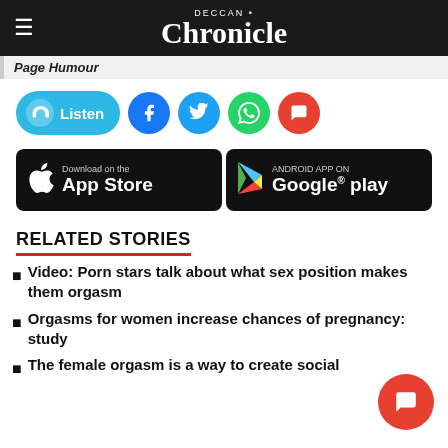DECCAN Chronicle
Page Humour
[Figure (screenshot): Social sharing buttons: Listen (audio), Facebook, Twitter, WhatsApp, Comments]
[Figure (screenshot): App store download buttons: Download on the App Store (Apple) and Android App on Google play]
RELATED STORIES
Video: Porn stars talk about what sex position makes them orgasm
Orgasms for women increase chances of pregnancy: study
The female orgasm is a way to create social